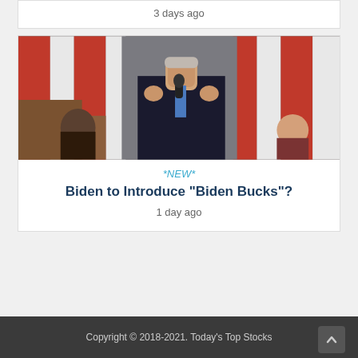3 days ago
[Figure (photo): Photo of a man in a dark suit speaking at a podium with a microphone, with American flags in the background and other people partially visible behind him.]
*NEW*
Biden to Introduce "Biden Bucks"?
1 day ago
Copyright © 2018-2021. Today's Top Stocks